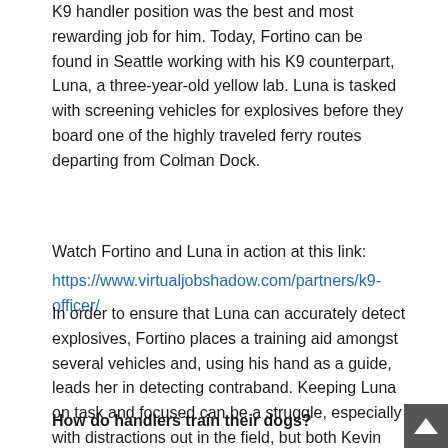K9 handler position was the best and most rewarding job for him. Today, Fortino can be found in Seattle working with his K9 counterpart, Luna, a three-year-old yellow lab. Luna is tasked with screening vehicles for explosives before they board one of the highly traveled ferry routes departing from Colman Dock.
Watch Fortino and Luna in action at this link: https://www.virtualjobshadow.com/partners/k9-officer/
In order to ensure that Luna can accurately detect explosives, Fortino places a training aid amongst several vehicles and, using his hand as a guide, leads her in detecting contraband. Keeping Luna on task and focused can be a struggle, especially with distractions out in the field, but both Kevin and his partner are highly trained and up to the task.
How do handlers train their dogs?